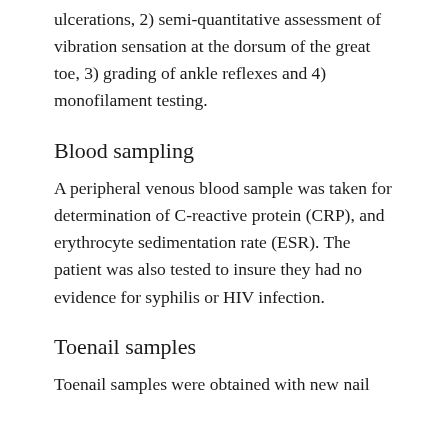ulcerations, 2) semi-quantitative assessment of vibration sensation at the dorsum of the great toe, 3) grading of ankle reflexes and 4) monofilament testing.
Blood sampling
A peripheral venous blood sample was taken for determination of C-reactive protein (CRP), and erythrocyte sedimentation rate (ESR). The patient was also tested to insure they had no evidence for syphilis or HIV infection.
Toenail samples
Toenail samples were obtained with new nail